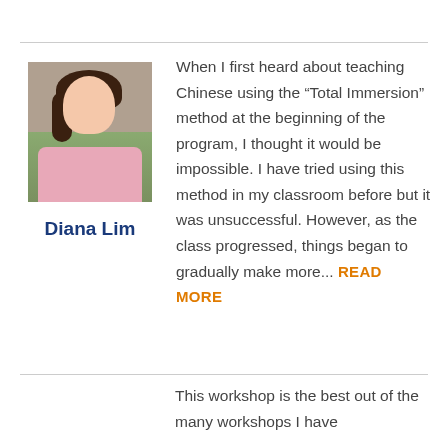[Figure (photo): Portrait photo of Diana Lim, a woman wearing a pink top, with dark hair, photographed outdoors with greenery in background]
Diana Lim
When I first heard about teaching Chinese using the “Total Immersion” method at the beginning of the program, I thought it would be impossible. I have tried using this method in my classroom before but it was unsuccessful. However, as the class progressed, things began to gradually make more... READ MORE
This workshop is the best out of the many workshops I have